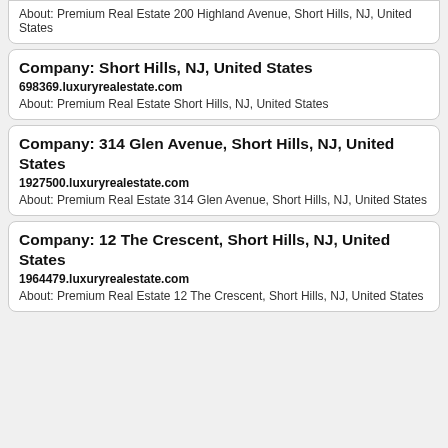About: Premium Real Estate 200 Highland Avenue, Short Hills, NJ, United States
Company: Short Hills, NJ, United States
698369.luxuryrealestate.com
About: Premium Real Estate Short Hills, NJ, United States
Company: 314 Glen Avenue, Short Hills, NJ, United States
1927500.luxuryrealestate.com
About: Premium Real Estate 314 Glen Avenue, Short Hills, NJ, United States
Company: 12 The Crescent, Short Hills, NJ, United States
1964479.luxuryrealestate.com
About: Premium Real Estate 12 The Crescent, Short Hills, NJ, United States